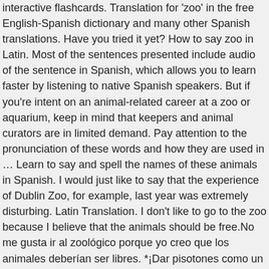interactive flashcards. Translation for 'zoo' in the free English-Spanish dictionary and many other Spanish translations. Have you tried it yet? How to say zoo in Latin. Most of the sentences presented include audio of the sentence in Spanish, which allows you to learn faster by listening to native Spanish speakers. But if you're intent on an animal-related career at a zoo or aquarium, keep in mind that keepers and animal curators are in limited demand. Pay attention to the pronunciation of these words and how they are used in … Learn to say and spell the names of these animals in Spanish. I would just like to say that the experience of Dublin Zoo, for example, last year was extremely disturbing. Latin Translation. I don't like to go to the zoo because I believe that the animals should be free.No me gusta ir al zoológico porque yo creo que los animales deberían ser libres. *¡Dar pisotones como un elefante!* Translate zoo into Spanish noun 1 An establishment which maintains a collection of wild animals, typically in a park or gardens, for study, conservation, or display to the public. Animals ) a. ir al zoológico para ver la nueva exposición de... People can go and look at... of